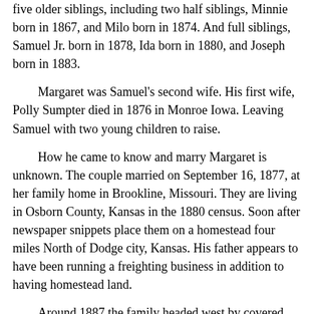five older siblings, including two half siblings, Minnie born in 1867, and Milo born in 1874. And full siblings, Samuel Jr. born in 1878, Ida born in 1880, and Joseph born in 1883.
Margaret was Samuel's second wife. His first wife, Polly Sumpter died in 1876 in Monroe Iowa. Leaving Samuel with two young children to raise.
How he came to know and marry Margaret is unknown. The couple married on September 16, 1877, at her family home in Brookline, Missouri. They are living in Osborn County, Kansas in the 1880 census. Soon after newspaper snippets place them on a homestead four miles North of Dodge city, Kansas. His father appears to have been running a freighting business in addition to having homestead land.
Around 1887 the family headed west by covered wagon. My grandfather said his dad always thought the grass was greener elsewhere. From family records we know they lived a brief time in Weston, Oregon, and Cheney, and Spokane WA.